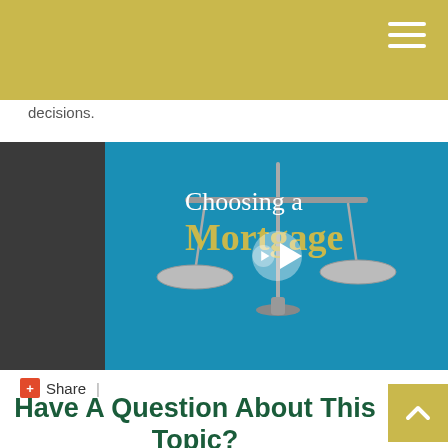decisions.
[Figure (screenshot): Video thumbnail showing a balance scale on a blue background with text 'Choosing a Mortgage' and a play button in the center.]
+ Share  |
Have A Question About This Topic?